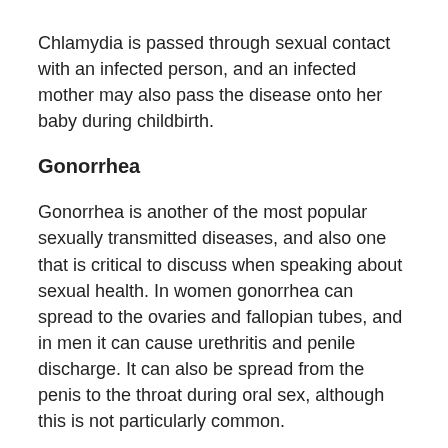Chlamydia is passed through sexual contact with an infected person, and an infected mother may also pass the disease onto her baby during childbirth.
Gonorrhea
Gonorrhea is another of the most popular sexually transmitted diseases, and also one that is critical to discuss when speaking about sexual health. In women gonorrhea can spread to the ovaries and fallopian tubes, and in men it can cause urethritis and penile discharge. It can also be spread from the penis to the throat during oral sex, although this is not particularly common.